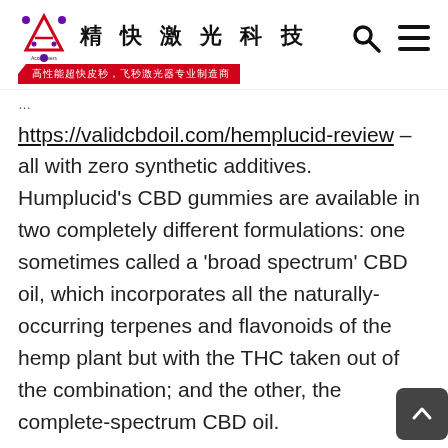精快激光科技 — AccuLasers logo header with search and menu icons
https://validcbdoil.com/hemplucid-review – all with zero synthetic additives. Humplucid's CBD gummies are available in two completely different formulations: one sometimes called a 'broad spectrum' CBD oil, which incorporates all the naturally-occurring terpenes and flavonoids of the hemp plant but with the THC taken out of the combination; and the other, the complete-spectrum CBD oil.
Hemplucid presents three completely different CBD Oil Tinctures: CBD in MCT Oil, CBD in Hemp Seed Oil, and a THC-Free CBD in MCT Oil Tincture